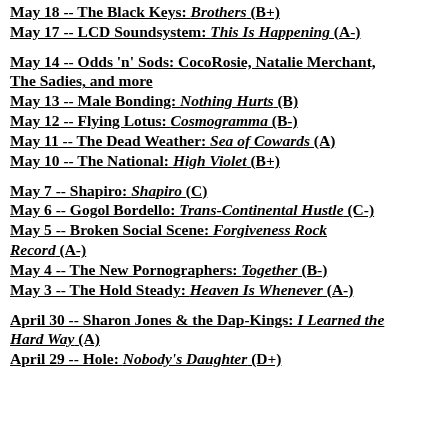May 18 -- The Black Keys: Brothers (B+)
May 17 -- LCD Soundsystem: This Is Happening (A-)
May 14 -- Odds 'n' Sods: CocoRosie, Natalie Merchant, The Sadies, and more
May 13 -- Male Bonding: Nothing Hurts (B)
May 12 -- Flying Lotus: Cosmogramma (B-)
May 11 -- The Dead Weather: Sea of Cowards (A)
May 10 -- The National: High Violet (B+)
May 7 -- Shapiro: Shapiro (C)
May 6 -- Gogol Bordello: Trans-Continental Hustle (C-)
May 5 -- Broken Social Scene: Forgiveness Rock Record (A-)
May 4 -- The New Pornographers: Together (B-)
May 3 -- The Hold Steady: Heaven Is Whenever (A-)
April 30 -- Sharon Jones & the Dap-Kings: I Learned the Hard Way (A)
April 29 -- Hole: Nobody's Daughter (D+)